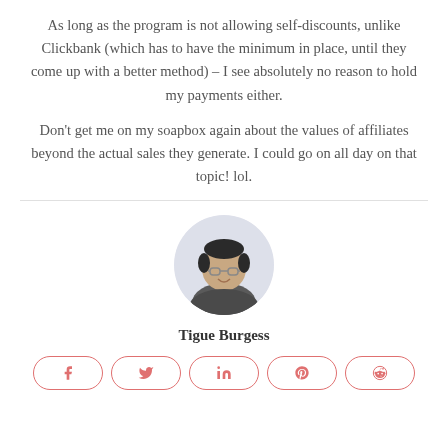As long as the program is not allowing self-discounts, unlike Clickbank (which has to have the minimum in place, until they come up with a better method) – I see absolutely no reason to hold my payments either.
Don't get me on my soapbox again about the values of affiliates beyond the actual sales they generate. I could go on all day on that topic! lol.
[Figure (photo): Circular profile photo of Tigue Burgess, a man with glasses and dark hair, smiling]
Tigue Burgess
[Figure (other): Social sharing buttons for Facebook, Twitter, LinkedIn, Pinterest, and Reddit]